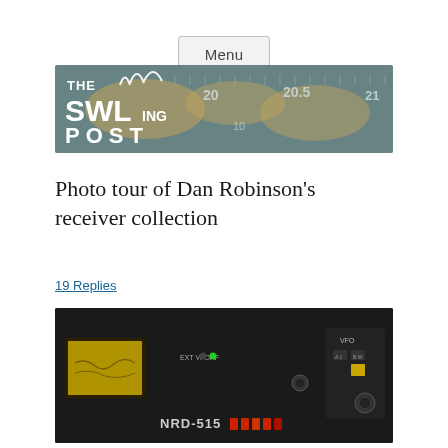Menu
[Figure (illustration): The SWLing Post banner logo — radio dial background with world map, overlaid with 'THE SWLing POST' text in white]
Photo tour of Dan Robinson's receiver collection
19 Replies
[Figure (photo): Close-up photo of a radio receiver front panel showing NRD-515 label, frequency display, and various knobs and indicators]